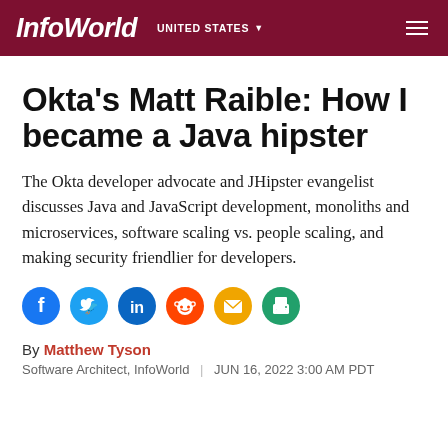InfoWorld | UNITED STATES
Okta's Matt Raible: How I became a Java hipster
The Okta developer advocate and JHipster evangelist discusses Java and JavaScript development, monoliths and microservices, software scaling vs. people scaling, and making security friendlier for developers.
[Figure (infographic): Social sharing icons: Facebook (blue), Twitter (blue), LinkedIn (dark blue), Reddit (orange-red), Email (yellow-orange), Print (green)]
By Matthew Tyson
Software Architect, InfoWorld | JUN 16, 2022 3:00 AM PDT